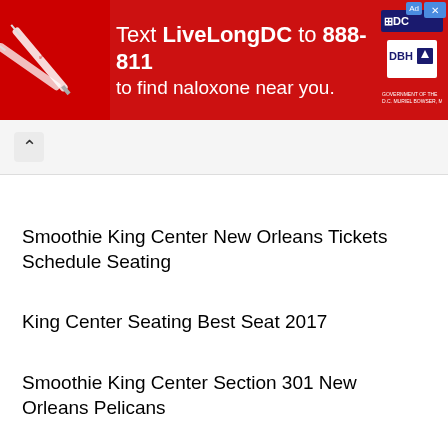[Figure (infographic): Red advertisement banner: 'Text LiveLongDC to 888-811 to find naloxone near you.' with DC and DBH logos and a close button]
Smoothie King Center New Orleans Tickets Schedule Seating
King Center Seating Best Seat 2017
Smoothie King Center Section 301 New Orleans Pelicans